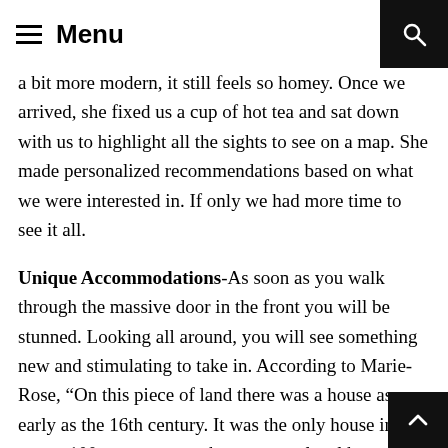Menu
a bit more modern, it still feels so homey.  Once we arrived, she fixed us a cup of hot tea and sat down with us to highlight all the sights to see on a map.  She made personalized recommendations based on what we were interested in.  If only we had more time to see it all.
Unique Accommodations-As soon as you walk through the massive door in the front you will be stunned.  Looking all around, you will see something new and stimulating to take in.  According to Marie-Rose, “On this piece of land there was a house as early as the 16th century. It was the only house in the street. 100 years ago our house was a local brewery.”  In 1992 they bought the home and renovated.  Her most recent project has been the house out back which she has turned an apartment that can be rented for travel.  What an amaz